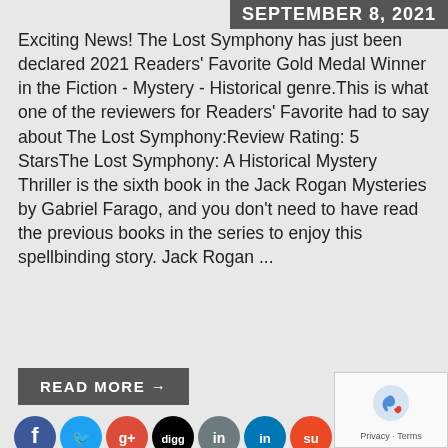SEPTEMBER 8, 2021
Exciting News! The Lost Symphony has just been declared 2021 Readers' Favorite Gold Medal Winner in the Fiction - Mystery - Historical genre.This is what one of the reviewers for Readers' Favorite had to say about The Lost Symphony:Review Rating: 5 StarsThe Lost Symphony: A Historical Mystery Thriller is the sixth book in the Jack Rogan Mysteries by Gabriel Farago, and you don't need to have read the previous books in the series to enjoy this spellbinding story. Jack Rogan ...
READ MORE →
[Figure (other): Social media share icons: Facebook, Twitter, Google+, Digg, Reddit, LinkedIn, StumbleUpon, Tumblr, Pinterest Save, Email]
[Figure (other): reCAPTCHA widget with Privacy and Terms links]